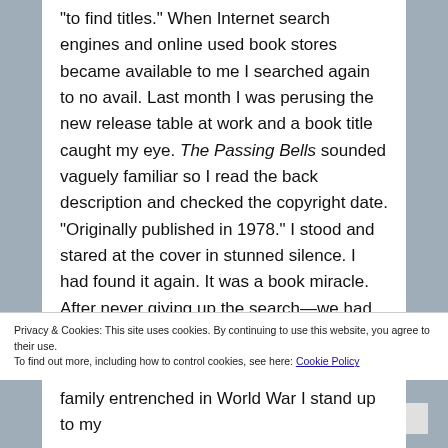“to find titles.” When Internet search engines and online used book stores became available to me I searched again to no avail. Last month I was perusing the new release table at work and a book title caught my eye. The Passing Bells sounded vaguely familiar so I read the back description and checked the copyright date. “Originally published in 1978.” I stood and stared at the cover in stunned silence. I had found it again. It was a book miracle. After never giving up the search—we had been reunited—and, better yet, it was part of a trilogy! A red letter day all around for this book geek.
Privacy & Cookies: This site uses cookies. By continuing to use this website, you agree to their use. To find out more, including how to control cookies, see here: Cookie Policy
Close and accept
family entrenched in World War I stand up to my